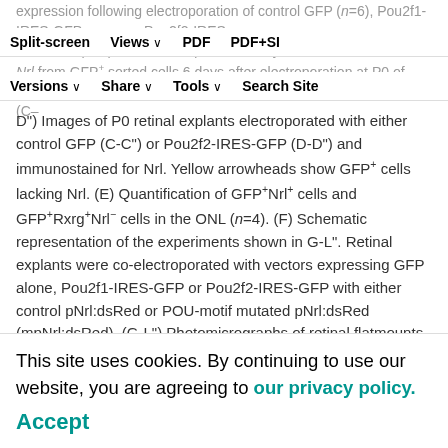expression following electroporation of control GFP (n=6), Pou2f1-IRES-GFP ... RT-qPCR analysis of Nrl from GFP+ sorted cells 6 days after electroporation at P0 of either control GFP, Pou2f1-IRES-GFP or Pou2f2-IRES-GFP (n=5).
Split-screen | Views | PDF | PDF+SI | Versions | Share | Tools | Search Site
(C-D") Images of P0 retinal explants electroporated with either control GFP (C-C") or Pou2f2-IRES-GFP (D-D") and immunostained for Nrl. Yellow arrowheads show GFP+ cells lacking Nrl. (E) Quantification of GFP+Nrl+ cells and GFP+Rxrg+Nrl- cells in the ONL (n=4). (F) Schematic representation of the experiments shown in G-L". Retinal explants were co-electroporated with vectors expressing GFP alone, Pou2f1-IRES-GFP or Pou2f2-IRES-GFP with either control pNrl:dsRed or POU-motif mutated pNrl:dsRed (mpNrl:dsRed). (G-L") Photomicrographs of retinal flatmounts showing reduced dsRed signal after expression of Pou2f1 (H') or Pou2f2 (I'). (J-L") Photomicrographs of retinal flatmounts showing ...
This site uses cookies. By continuing to use our website, you are agreeing to our privacy policy. Accept